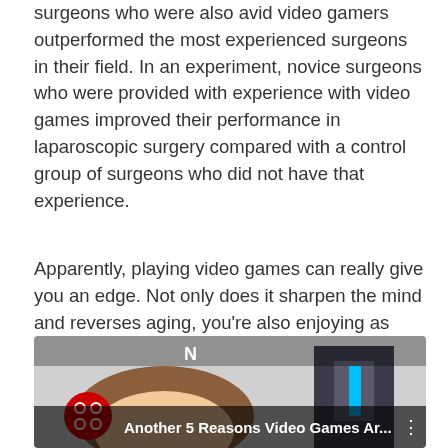surgeons who were also avid video gamers outperformed the most experienced surgeons in their field. In an experiment, novice surgeons who were provided with experience with video games improved their performance in laparoscopic surgery compared with a control group of surgeons who did not have that experience.
Apparently, playing video games can really give you an edge. Not only does it sharpen the mind and reverses aging, you're also enjoying as well! Even though it sounds so weird and counter-intuitive, this year, make it a point to get your game on!
[Figure (screenshot): YouTube video thumbnail showing a cartoon character and title 'Another 5 Reasons Video Games Ar...' with a YouTube icon overlay and three-dot menu.]